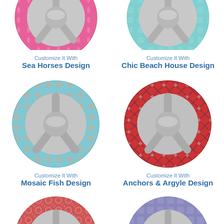[Figure (illustration): Steering wheel cover with pink Sea Horses design pattern, partially cropped at top]
Customize It With
Sea Horses Design
[Figure (illustration): Steering wheel cover with teal/aqua Chic Beach House design pattern, partially cropped at top]
Customize It With
Chic Beach House Design
[Figure (illustration): Steering wheel cover with light blue Mosaic Fish design pattern, full view]
Customize It With
Mosaic Fish Design
[Figure (illustration): Steering wheel cover with red and navy Anchors & Argyle design pattern, full view]
Customize It With
Anchors & Argyle Design
[Figure (illustration): Steering wheel cover with coral/red chain link pattern, partially cropped at bottom]
[Figure (illustration): Steering wheel cover with blue/gray pattern, partially cropped at bottom]